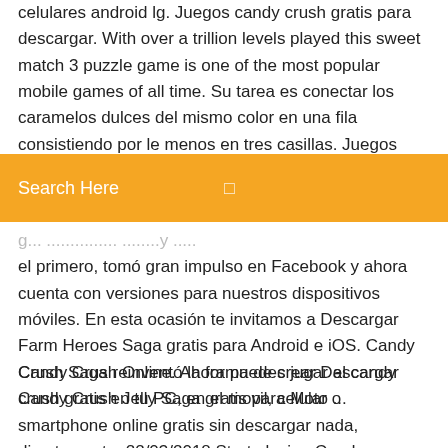celulares android lg. Juegos candy crush gratis para descargar. With over a trillion levels played this sweet match 3 puzzle game is one of the most popular mobile games of all time. Su tarea es conectar los caramelos dulces del mismo color en una fila consistiendo por le menos en tres casillas. Juegos juegos friv para 3 personas juegos gratis Descargar Farm Heroes Saga...
[Figure (other): Orange search bar overlay with 'Search Here' placeholder text and a search icon on the right]
el primero, tomó gran impulso en Facebook y ahora cuenta con versiones para nuestros dispositivos móviles. En esta ocasión te invitamos a Descargar Farm Heroes Saga gratis para Android e iOS. Candy Crush Saga reinventó la forma de crear Descargar Candy Crush Jelly Saga gratis para Moto ...
Candy Crush Online. Ahora puedes jugar al candy crush gratis en tu PC, en el movil, celular o smartphone online gratis sin descargar nada, directamente. 22/03/2018 Start playing Candy